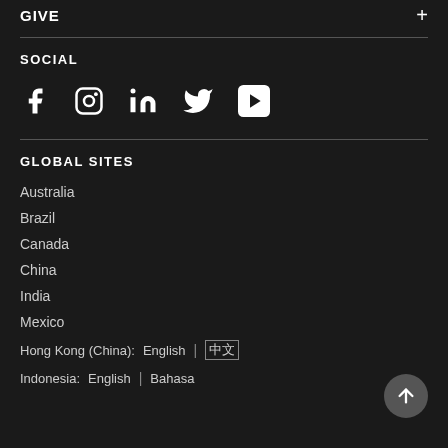GIVE
SOCIAL
[Figure (illustration): Social media icons: Facebook, Instagram, LinkedIn, Twitter, YouTube]
GLOBAL SITES
Australia
Brazil
Canada
China
India
Mexico
Hong Kong (China):   English  |  [Chinese]
Indonesia:   English  |  Bahasa